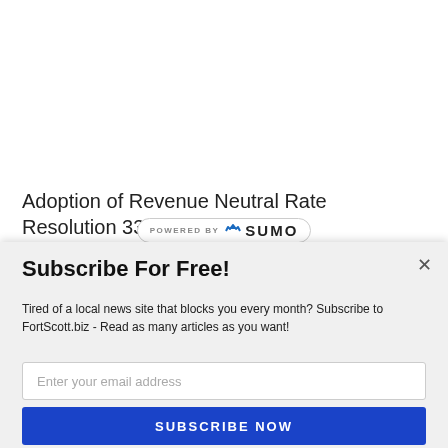Adoption of Revenue Neutral Rate Resolution 33-2022
[Figure (logo): POWERED BY SUMO badge with crown logo]
Subscribe For Free!
Tired of a local news site that blocks you every month? Subscribe to FortScott.biz - Read as many articles as you want!
Enter your email address
SUBSCRIBE NOW